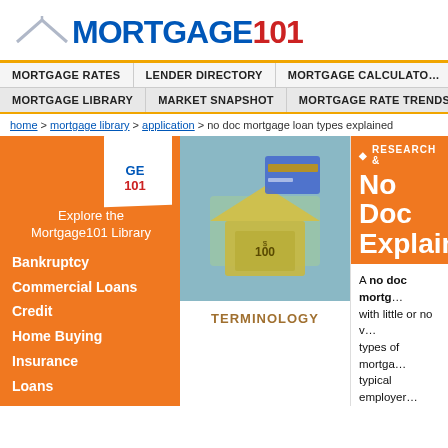[Figure (logo): Mortgage101 logo with house icon above, blue MORTGAGE text and red 101 text]
MORTGAGE RATES | LENDER DIRECTORY | MORTGAGE CALCULATOR
MORTGAGE LIBRARY | MARKET SNAPSHOT | MORTGAGE RATE TRENDS
home > mortgage library > application > no doc mortgage loan types explained
[Figure (infographic): Orange sidebar with Mortgage101 badge, Explore the Mortgage101 Library text, and navigation links: Bankruptcy, Commercial Loans, Credit, Home Buying, Insurance, Loans]
[Figure (photo): Photo of US dollar bills folded into a house shape on a light blue background]
TERMINOLOGY
[Figure (infographic): Orange header panel with RESEARCH & text and No Doc Explained heading]
A no doc mortgage is a mortgage with little or no verification of types of mortgage are popular with typical employer, self-employed individual, or a c